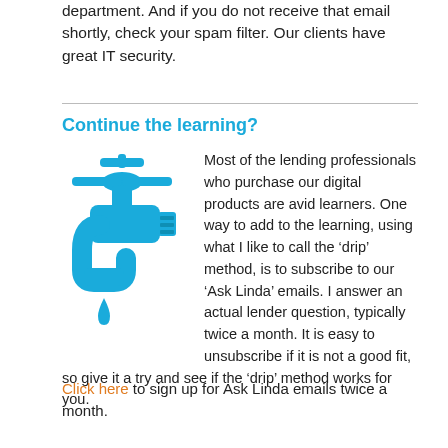department. And if you do not receive that email shortly, check your spam filter. Our clients have great IT security.
Continue the learning?
[Figure (illustration): Blue faucet/tap icon with a water drop falling from the spout]
Most of the lending professionals who purchase our digital products are avid learners. One way to add to the learning, using what I like to call the ‘drip’ method, is to subscribe to our ‘Ask Linda’ emails. I answer an actual lender question, typically twice a month. It is easy to unsubscribe if it is not a good fit, so give it a try and see if the ‘drip’ method works for you.
Click here to sign up for Ask Linda emails twice a month.